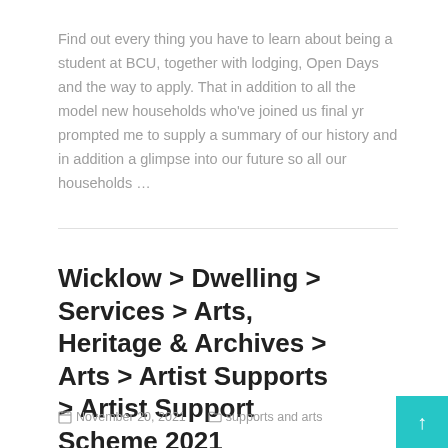Find out every thing you have to learn about being a student at BCU, together with lodging, Open Days and the way to apply. That in addition to all the model new households who've joined us final yr prompted me to supply a summary of our history and in addition a glimpse into our future so all our households …
Wicklow > Dwelling > Services > Arts, Heritage & Archives > Arts > Artist Supports > Artist Support Scheme 2021
November 20, 2021   supports and arts